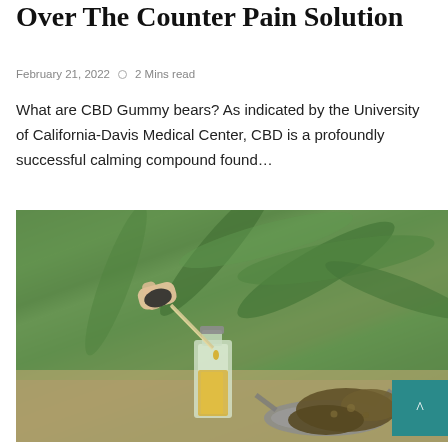Over The Counter Pain Solution
February 21, 2022  ○  2 Mins read
What are CBD Gummy bears? As indicated by the University of California-Davis Medical Center, CBD is a profoundly successful calming compound found…
[Figure (photo): A hand holding a dropper dispensing yellow CBD oil into a small glass bottle, with cannabis plant leaves in the background and dried cannabis flower buds in the foreground on a stethoscope.]